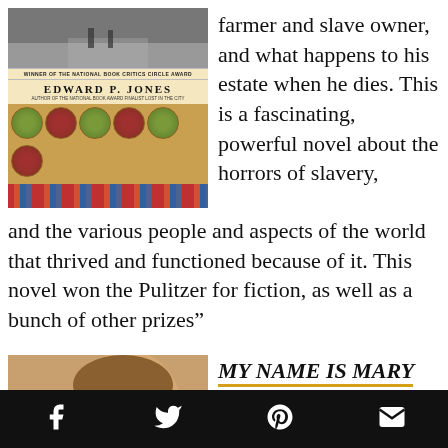[Figure (photo): Book cover of The Known World by Edward P. Jones, showing maps and quilt patterns, with text 'Winner of the National Book Critics Circle Award', 'Edward P. Jones', 'Author of the National Book Award Finalist Lost in the City']
farmer and slave owner, and what happens to his estate when he dies. This is a fascinating, powerful novel about the horrors of slavery, and the various people and aspects of the world that thrived and functioned because of it. This novel won the Pulitzer for fiction, as well as a bunch of other prizes”
[Figure (photo): Side profile photo of a person (appears to be a young woman) against a neutral background]
MY NAME IS MARY SUTTER BY ROBIN OLIVEIRA